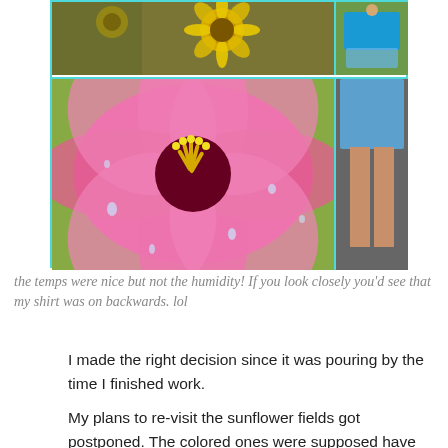[Figure (photo): A collage of three photos: top-left shows sunflowers, top-right shows a person in a blue shirt and blue skirt standing outdoors, bottom-left shows a close-up of a pink hibiscus flower with water droplets, bottom-right is the lower portion of the person photo.]
the temps were nice but not the humidity! If you look closely you'd see that my shirt was on backwards. lol
I made the right decision since it was pouring by the time I finished work.
My plans to re-visit the sunflower fields got postponed. The colored ones were supposed have bloomed too.